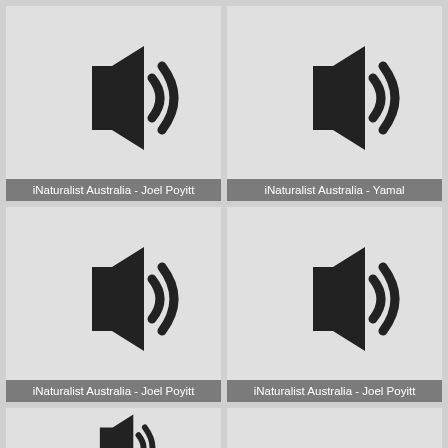[Figure (illustration): Audio/speaker icon with sound waves, labeled iNaturalist Australia - Joel Poyitt]
iNaturalist Australia - Joel Poyitt
[Figure (illustration): Audio/speaker icon with sound waves, labeled iNaturalist Australia - Yamal]
iNaturalist Australia - Yamal
[Figure (illustration): Audio/speaker icon with sound waves, labeled iNaturalist Australia - Joel Poyitt]
iNaturalist Australia - Joel Poyitt
[Figure (illustration): Audio/speaker icon with sound waves, labeled iNaturalist Australia - Joel Poyitt]
iNaturalist Australia - Joel Poyitt
[Figure (illustration): Partial audio/speaker icon visible at bottom, no label]
[Figure (illustration): Empty cell at bottom right]